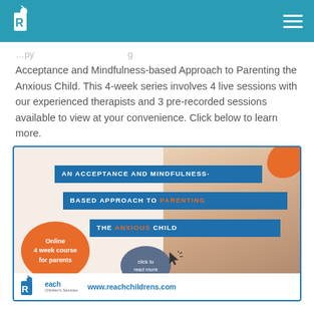Reach Children's Services navigation header
Acceptance and Mindfulness-based Approach to Parenting the Anxious Child. This 4-week series involves 4 live sessions with our experienced therapists and 3 pre-recorded sessions available to view at your convenience. Click below to learn more.
[Figure (infographic): Promotional banner for 'An Acceptance and Mindfulness-Based Approach to Parenting the Anxious Child' online 4 week course for parents by Reach Children's Services. Features blue title banners, orange accent blobs, a parent-child photo, a click to read more button, and the website www.reachchildrens.com]